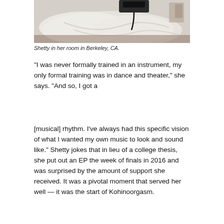[Figure (photo): Photo of Shetty in her room in Berkeley, CA — partial view showing white bedding and a device with a cable.]
Shetty in her room in Berkeley, CA.
“I was never formally trained in an instrument, my only formal training was in dance and theater,” she says. “And so, I got a
[musical] rhythm. I’ve always had this specific vision of what I wanted my own music to look and sound like.” Shetty jokes that in lieu of a college thesis, she put out an EP the week of finals in 2016 and was surprised by the amount of support she received. It was a pivotal moment that served her well — it was the start of Kohinoorgasm.